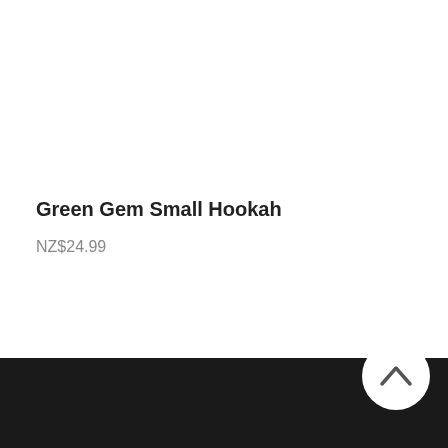Green Gem Small Hookah
NZ$24.99
[Figure (other): Grid view icon (3x3 dot grid) and list view icon (bullet lines), used for toggling product display layout]
[Figure (other): Back to top button — circular white button with upward chevron arrow, positioned over a black footer bar]